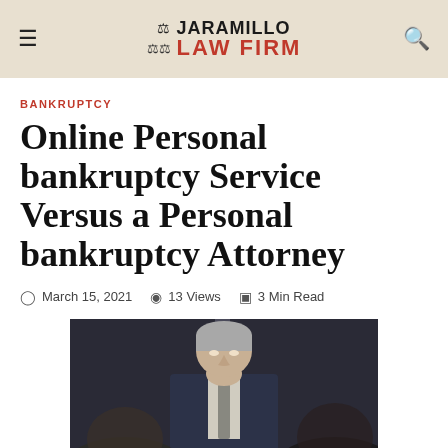Jaramillo Law Firm
BANKRUPTCY
Online Personal bankruptcy Service Versus a Personal bankruptcy Attorney
March 15, 2021  13 Views  3 Min Read
[Figure (photo): A middle-aged man in a dark suit sitting at a meeting table, viewed from across the table with two other people in the foreground out of focus.]